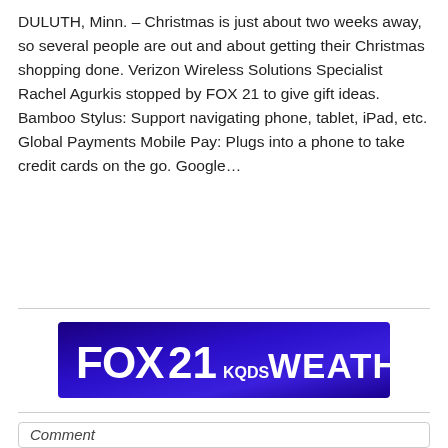DULUTH, Minn. – Christmas is just about two weeks away, so several people are out and about getting their Christmas shopping done. Verizon Wireless Solutions Specialist Rachel Agurkis stopped by FOX 21 to give gift ideas. Bamboo Stylus: Support navigating phone, tablet, iPad, etc. Global Payments Mobile Pay: Plugs into a phone to take credit cards on the go. Google…
[Figure (logo): FOX 21 KQDS WEATHER banner with blue gradient background and white text]
Comment